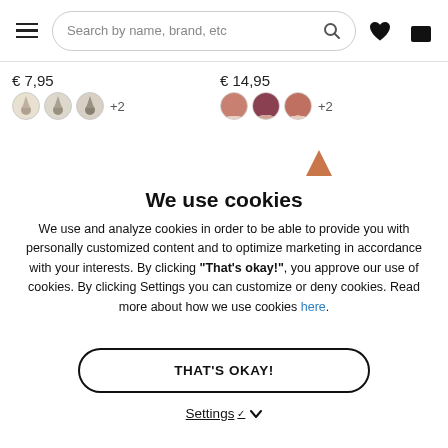[Figure (screenshot): Navigation bar with hamburger menu, search bar reading 'Search by name, brand, etc', heart icon, and shopping bag icon with 0]
€ 7,95
[Figure (illustration): Three circular swatch icons (dark/neutral color) with +2]
€ 14,95
[Figure (illustration): Three circular swatch icons (reddish/rose tones) with +2]
[Figure (illustration): Small orange/terracotta triangle/cone icon]
We use cookies
We use and analyze cookies in order to be able to provide you with personally customized content and to optimize marketing in accordance with your interests. By clicking "That's okay!", you approve our use of cookies. By clicking Settings you can customize or deny cookies. Read more about how we use cookies here.
THAT'S OKAY!
Settings